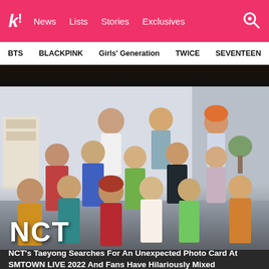K! News Lists Stories Exclusives
BTS  BLACKPINK  Girls' Generation  TWICE  SEVENTEEN
[Figure (photo): NCT group photo with multiple members posing together in colorful outfits in an indoor setting with 'NCT' label overlay in bottom left corner]
NCT's Taeyong Searches For An Unexpected Photo Card At SMTOWN LIVE 2022 And Fans Have Hilariously Mixed